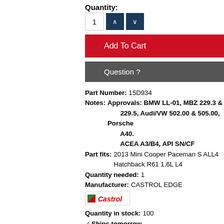Quantity:
1 (quantity input with up/down buttons)
Add To Cart
Question ?
Part Number: 15D934
Notes: Approvals: BMW LL-01, MBZ 229.3 & 229.5, Audi/VW 502.00 & 505.00, Porsche A40.
ACEA A3/B4, API SN/CF
Part fits: 2013 Mini Cooper Paceman S ALL4 Hatchback R61 1.6L L4
Quantity needed: 1
Manufacturer: CASTROL EDGE
[Figure (logo): Castrol logo with green and red stripe]
Quantity in stock: 100
✓Ships tomorrow
Engine Oil - Liqui Moly Leichtlauf High Tech - 5W-40 Synthetic (1 Liter)
[Figure (photo): Liqui Moly engine oil bottle thumbnail]
Engine Oil - Liqui Moly Leichtlauf High Tech - 5W-40 Synthetic (1 Liter)
$0.00 $10.74